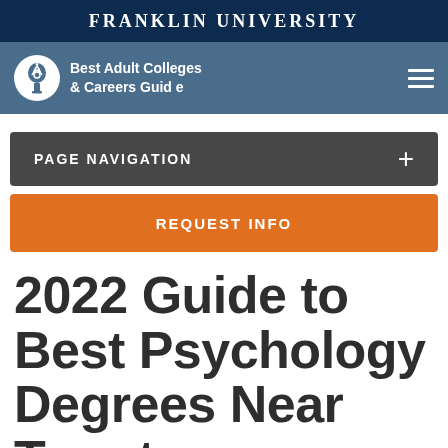FRANKLIN UNIVERSITY
[Figure (logo): Franklin University Best Adult Colleges & Careers Guide logo with torch icon and hamburger menu]
PAGE NAVIGATION +
REQUEST INFO
2022 Guide to Best Psychology Degrees Near Terrytown,